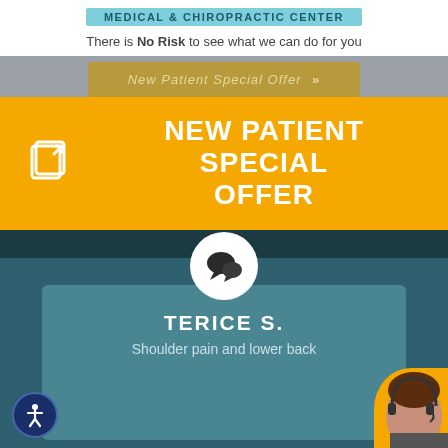MEDICAL & CHIROPRACTIC CENTER
There is No Risk to see what we can do for you
New Patient Special Offer >>
NEW PATIENT SPECIAL OFFER
TERICE S.
Shoulder pain and lower back